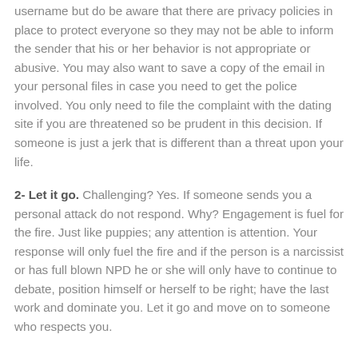username but do be aware that there are privacy policies in place to protect everyone so they may not be able to inform the sender that his or her behavior is not appropriate or abusive. You may also want to save a copy of the email in your personal files in case you need to get the police involved. You only need to file the complaint with the dating site if you are threatened so be prudent in this decision. If someone is just a jerk that is different than a threat upon your life.
2- Let it go. Challenging? Yes. If someone sends you a personal attack do not respond. Why? Engagement is fuel for the fire. Just like puppies; any attention is attention. Your response will only fuel the fire and if the person is a narcissist or has full blown NPD he or she will only have to continue to debate, position himself or herself to be right; have the last work and dominate you. Let it go and move on to someone who respects you.